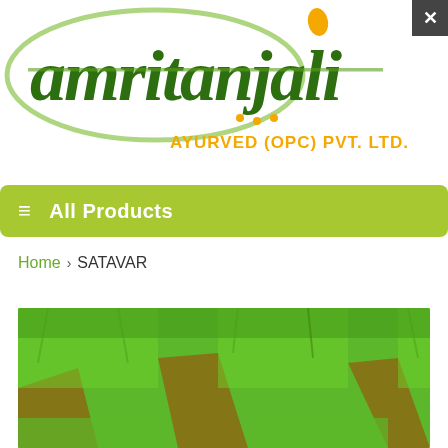[Figure (logo): Amritanjali Ayurved (OPC) Pvt. Ltd. logo with stylized green text and oval, and orange dot drop motif above the 'j']
≡  All Products
Home > SATAVAR
[Figure (photo): Agricultural field with rows of green leafy plants (Satavar/Shatavari crop) and brown soil tracks between rows]